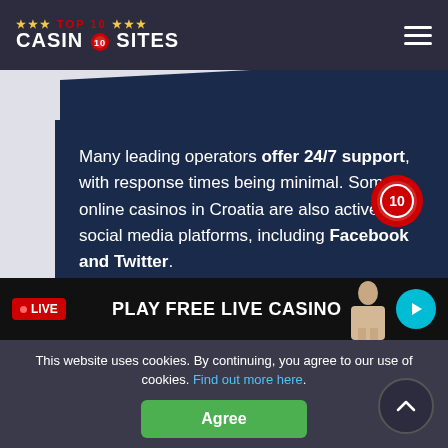TOP 10 CASINO SITES
Many leading operators offer 24/7 support, with response times being minimal. Some online casinos in Croatia are also active on social media platforms, including Facebook and Twitter.
LIVE  PLAY FREE LIVE CASINO
This website uses cookies. By continuing, you agree to our use of cookies. Find out more here.
Agree